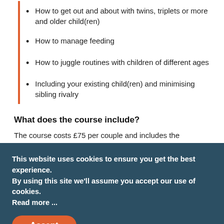How to get out and about with twins, triplets or more and older child(ren)
How to manage feeding
How to juggle routines with children of different ages
Including your existing child(ren) and minimising sibling rivalry
What does the course include?
The course costs £75 per couple and includes the following:
Two 1.5-hour online interactive sessions
This website uses cookies to ensure you get the best experience. By using this site we'll assume you accept our use of cookies. Read more ...
Accept